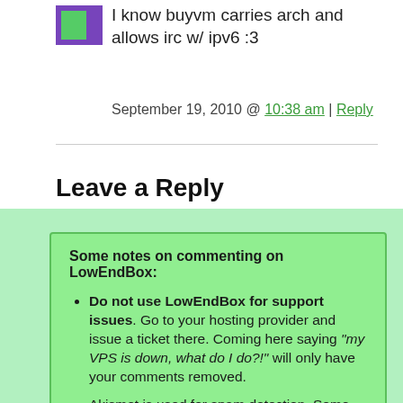I know buyvm carries arch and allows irc w/ ipv6 :3
September 19, 2010 @ 10:38 am | Reply
Leave a Reply
Some notes on commenting on LowEndBox:
Do not use LowEndBox for support issues. Go to your hosting provider and issue a ticket there. Coming here saying "my VPS is down, what do I do?!" will only have your comments removed.
Akismet is used for spam detection. Some comments may be held temporarily for manual approval.
Use <pre>...</pre> to quote the